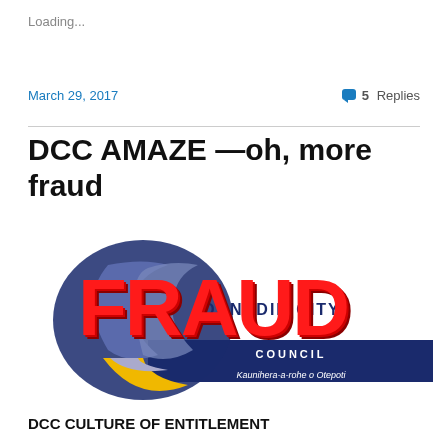Loading...
March 29, 2017
5 Replies
DCC AMAZE —oh, more fraud
[Figure (logo): Dunedin City Council logo overlaid with large red 'FRAUD' text. The council logo shows a dark navy/blue circular emblem with swooshes, yellow and grey shapes, and the text 'DUNEDIN CITY COUNCIL' and 'Kaunihera-a-rohe o Otepoti'. The word FRAUD is superimposed in large bold red 3D letters over the council logo.]
DCC CULTURE OF ENTITLEMENT